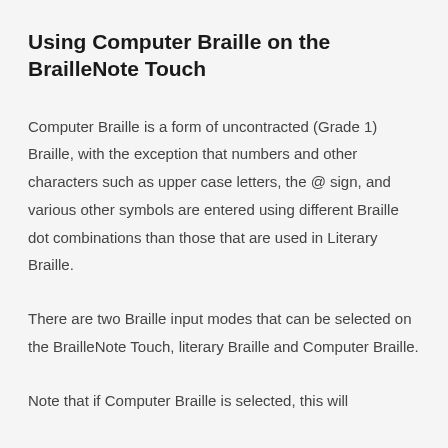Using Computer Braille on the BrailleNote Touch
Computer Braille is a form of uncontracted (Grade 1) Braille, with the exception that numbers and other characters such as upper case letters, the @ sign, and various other symbols are entered using different Braille dot combinations than those that are used in Literary Braille.
There are two Braille input modes that can be selected on the BrailleNote Touch, literary Braille and Computer Braille.
Note that if Computer Braille is selected, this will